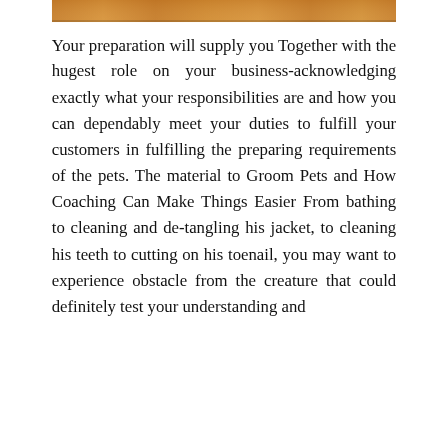[Figure (photo): Partial photo of a pet (appears to be a cat or dog with orange/brown fur) cropped at the top of the page]
Your preparation will supply you Together with the hugest role on your business-acknowledging exactly what your responsibilities are and how you can dependably meet your duties to fulfill your customers in fulfilling the preparing requirements of the pets. The material to Groom Pets and How Coaching Can Make Things Easier From bathing to cleaning and de-tangling his jacket, to cleaning his teeth to cutting on his toenail, you may want to experience obstacle from the creature that could definitely test your understanding and